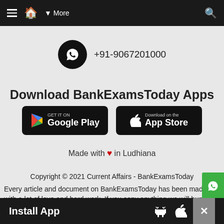≡ 🏠 ▾ More 🔍
[Figure (logo): WhatsApp icon in black circle with phone number +91-9067201000]
Download BankExamsToday Apps
[Figure (illustration): Google Play Store badge and Apple App Store badge on black rounded rectangles]
Made with ❤ in Ludhiana
Copyright © 2021 Current Affairs - BankExamsToday
Every article and document on BankExamsToday has been made with a lot of love and hard work. If you copy anything we will hunt you down and we mean
Install App  🤖  🍎  ✕